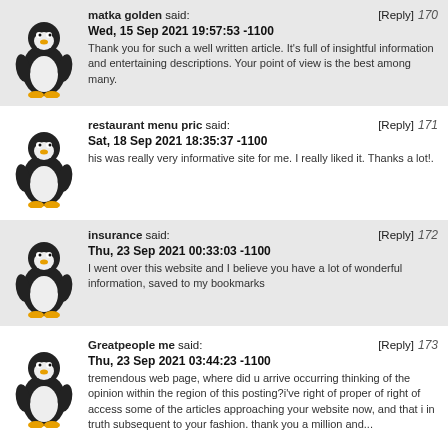[Figure (illustration): Linux Tux penguin avatar]
matka golden said: [Reply] 170
Wed, 15 Sep 2021 19:57:53 -1100
Thank you for such a well written article. It's full of insightful information and entertaining descriptions. Your point of view is the best among many.
[Figure (illustration): Linux Tux penguin avatar]
restaurant menu pric said: [Reply] 171
Sat, 18 Sep 2021 18:35:37 -1100
his was really very informative site for me. I really liked it. Thanks a lot!.
[Figure (illustration): Linux Tux penguin avatar]
insurance said: [Reply] 172
Thu, 23 Sep 2021 00:33:03 -1100
I went over this website and I believe you have a lot of wonderful information, saved to my bookmarks
[Figure (illustration): Linux Tux penguin avatar]
Greatpeople me said: [Reply] 173
Thu, 23 Sep 2021 03:44:23 -1100
tremendous web page, where did u arrive occurring thinking of the opinion within the region of this posting?i've right of proper of right of access some of the articles approaching your website now, and that i in truth subsequent to your fashion. thank you a million and...